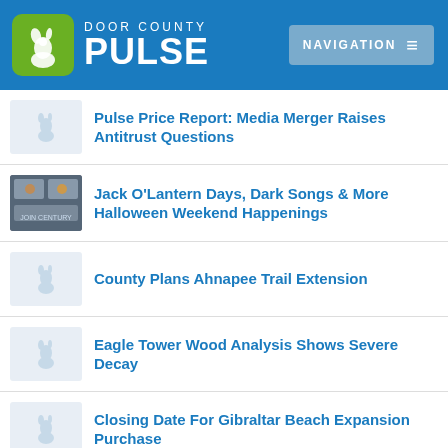Door County Pulse — Navigation
Pulse Price Report: Media Merger Raises Antitrust Questions
Jack O'Lantern Days, Dark Songs & More Halloween Weekend Happenings
County Plans Ahnapee Trail Extension
Eagle Tower Wood Analysis Shows Severe Decay
Closing Date For Gibraltar Beach Expansion Purchase